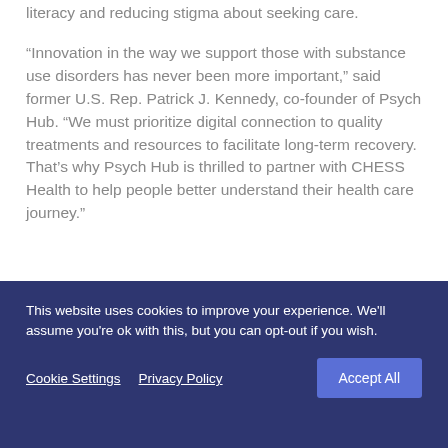literacy and reducing stigma about seeking care.
“Innovation in the way we support those with substance use disorders has never been more important,” said former U.S. Rep. Patrick J. Kennedy, co-founder of Psych Hub. “We must prioritize digital connection to quality treatments and resources to facilitate long-term recovery. That’s why Psych Hub is thrilled to partner with CHESS Health to help people better understand their health care journey.”
This website uses cookies to improve your experience. We'll assume you're ok with this, but you can opt-out if you wish.
Cookie Settings  Privacy Policy  Accept All